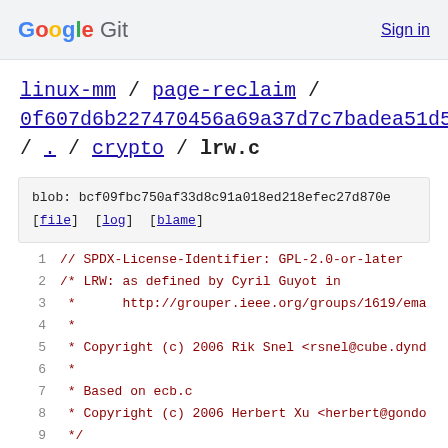Google Git  Sign in
linux-mm / page-reclaim / 0f607d6b227470456a69a37d7c7badea51d52844 / . / crypto / lrw.c
blob: bcf09fbc750af33d8c91a018ed218efec27d870e [file] [log] [blame]
1  // SPDX-License-Identifier: GPL-2.0-or-later
2  /* LRW: as defined by Cyril Guyot in
3   *      http://grouper.ieee.org/groups/1619/ema
4   *
5   * Copyright (c) 2006 Rik Snel <rsnel@cube.dynd
6   *
7   * Based on ecb.c
8   * Copyright (c) 2006 Herbert Xu <herbert@gondo
9   */
10 /* This implementation is checked against the